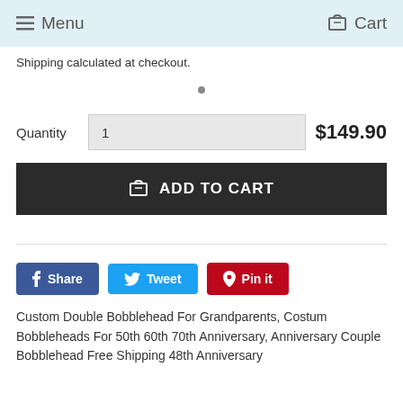Menu  Cart
Shipping calculated at checkout.
Quantity  1  $149.90
ADD TO CART
Share  Tweet  Pin it
Custom Double Bobblehead For Grandparents, Costum Bobbleheads For 50th 60th 70th Anniversary, Anniversary Couple Bobblehead Free Shipping 48th Anniversary